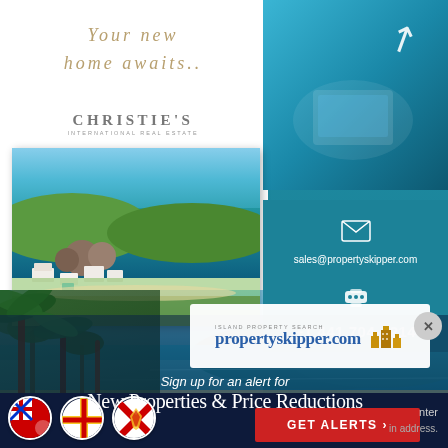Your new home awaits..
[Figure (logo): Christie's International Real Estate logo]
[Figure (photo): Aerial coastal property photo showing beachside villas, rocky coastline and turquoise sea]
[Figure (photo): Top-right panel: blue-tinted lifestyle photo with cursor arrow icon]
sales@propertyskipper.com
+1 441 704-0214
[Figure (logo): propertyskipper.com logo with island property search text and building icons]
[Figure (photo): Tropical beach scene with palm trees, clear blue water and green hills]
Sign up for an alert for
New Properties & Price Reductions
GET ALERTS ›
[Figure (illustration): Flag circle icons: Bermuda, Guernsey, Jersey flags]
nter
in address.